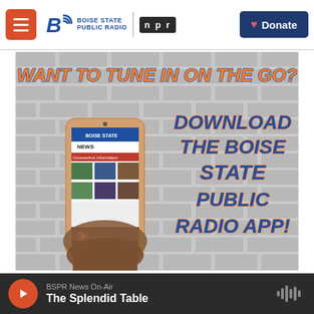Boise State Public Radio | NPR | Donate
[Figure (infographic): Advertisement for Boise State Public Radio app. Brick wall background with a hand holding a smartphone showing the BSPR news app. Orange bold italic text reads 'WANT TO TUNE IN ON THE GO?' Blue bold italic text reads 'DOWNLOAD THE BOISE STATE PUBLIC RADIO APP!']
BSPR News On-Air  The Splendid Table